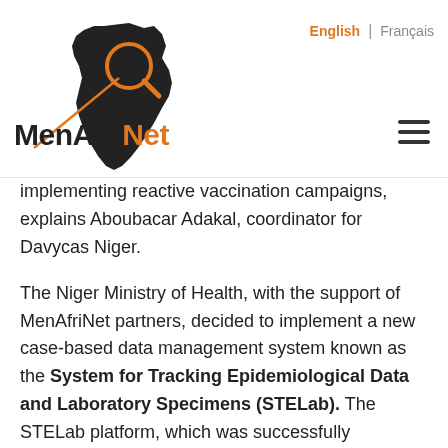MenAfriNet | English | Français
implementing reactive vaccination campaigns, explains Aboubacar Adakal, coordinator for Davycas Niger.
The Niger Ministry of Health, with the support of MenAfriNet partners, decided to implement a new case-based data management system known as the System for Tracking Epidemiological Data and Laboratory Specimens (STELab). The STELab platform, which was successfully established in neighboring Burkina Faso in 2017, modernizes the response process by using barcodes to